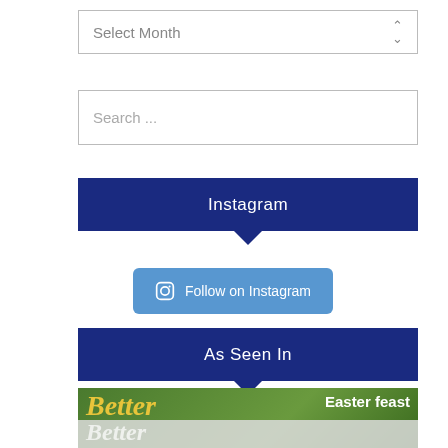[Figure (screenshot): A dropdown UI element with 'Select Month' placeholder text and up/down arrow on the right]
[Figure (screenshot): A search input box with 'Search ...' placeholder text]
Instagram
[Figure (screenshot): A blue rounded button with Instagram camera icon and text 'Follow on Instagram']
As Seen In
[Figure (screenshot): Bottom of a Better Homes & Gardens magazine cover with 'Easter feast' text visible]